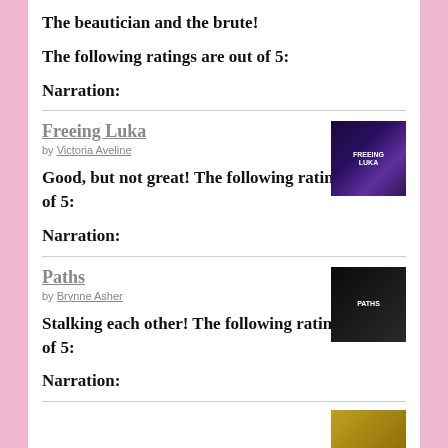The beautician and the brute!
The following ratings are out of 5:
Narration:
Freeing Luka
by Victoria Aveline
Good, but not great! The following ratings are out of 5:
Narration:
Paths
by Brynne Asher
Stalking each other! The following ratings are out of 5:
Narration: